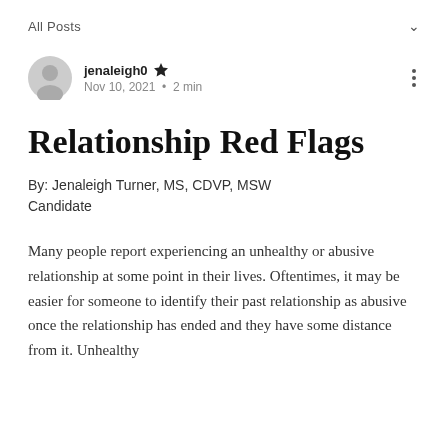All Posts
jenaleigh0 · Nov 10, 2021 · 2 min
Relationship Red Flags
By: Jenaleigh Turner, MS, CDVP, MSW Candidate
Many people report experiencing an unhealthy or abusive relationship at some point in their lives. Oftentimes, it may be easier for someone to identify their past relationship as abusive once the relationship has ended and they have some distance from it. Unhealthy